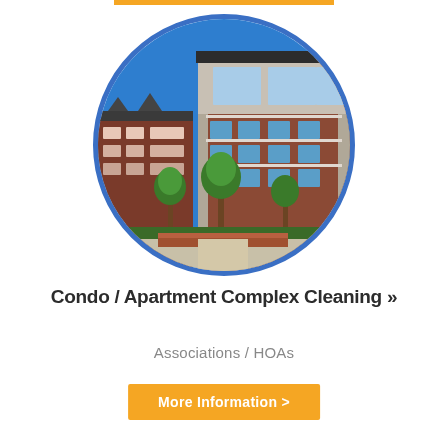[Figure (photo): Circular photo of a modern brick apartment/condo complex with balconies, large windows, and green trees under a bright blue sky]
Condo / Apartment Complex Cleaning »
Associations / HOAs
More Information >